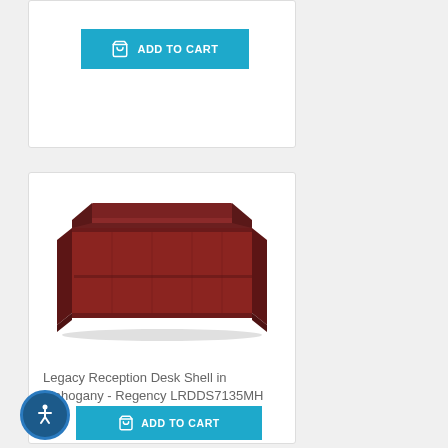[Figure (screenshot): ADD TO CART button (teal/cyan) from the top product card, partially visible at top of page]
[Figure (photo): Legacy Reception Desk Shell in Mahogany product photo showing a dark mahogany wood reception desk with raised counter panel]
Legacy Reception Desk Shell in Mahogany - Regency LRDDS7135MH
$561.99
[Figure (other): Accessibility icon button (circular, dark blue with white person/wheelchair symbol)]
ADD TO CART